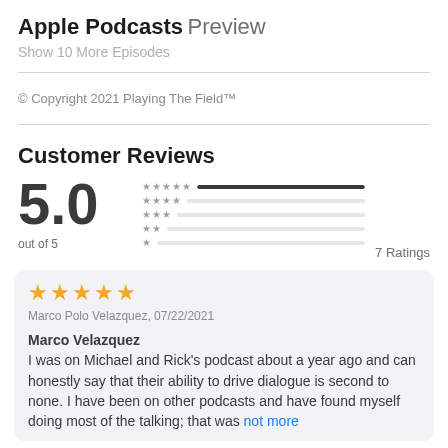Apple Podcasts Preview
Show 10 More Episodes
© Copyright 2021 Playing The Field™
Customer Reviews
[Figure (infographic): Rating display showing 5.0 out of 5 with star rating bars. Five rows of stars (5-star to 1-star) with a filled bar for 5-star and empty bars for others. 7 Ratings shown.]
out of 5
7 Ratings
Marco Polo Velazquez, 07/22/2021
Marco Velazquez
I was on Michael and Rick's podcast about a year ago and can honestly say that their ability to drive dialogue is second to none. I have been on other podcasts and have found myself doing most of the talking; that was not more